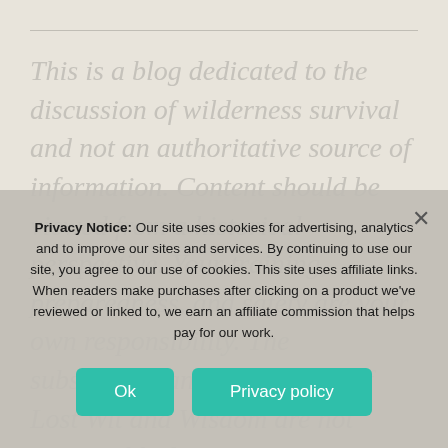This is a blog dedicated to the discussion of wilderness survival and not an authoritative source of information. Content should be viewed from a historical perspective. Your training, preparedness, and safety are your own responsibility. The subscribers and moderators of Lost Wit and Wisdom are not responsible for any
Privacy Notice: Our site uses cookies for advertising, analytics and to improve our sites and services. By continuing to use our site, you agree to our use of cookies. This site uses affiliate links. When readers make purchases after clicking on a product we've reviewed or linked to, we earn an affiliate commission that helps pay for our work.